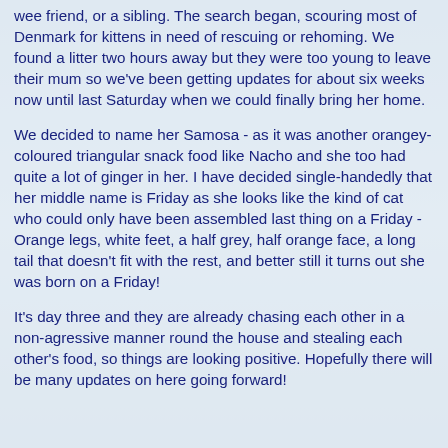wee friend, or a sibling. The search began, scouring most of Denmark for kittens in need of rescuing or rehoming. We found a litter two hours away but they were too young to leave their mum so we've been getting updates for about six weeks now until last Saturday when we could finally bring her home.
We decided to name her Samosa - as it was another orangey-coloured triangular snack food like Nacho and she too had quite a lot of ginger in her. I have decided single-handedly that her middle name is Friday as she looks like the kind of cat who could only have been assembled last thing on a Friday - Orange legs, white feet, a half grey, half orange face, a long tail that doesn't fit with the rest, and better still it turns out she was born on a Friday!
It's day three and they are already chasing each other in a non-agressive manner round the house and stealing each other's food, so things are looking positive. Hopefully there will be many updates on here going forward!